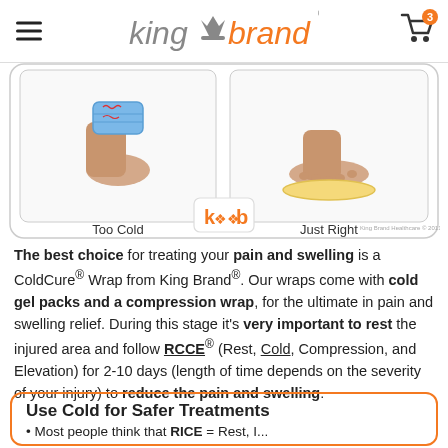King Brand (logo) — hamburger menu, cart with 3 items
[Figure (illustration): Two side-by-side panels showing cold therapy application. Left panel labeled 'Too Cold' shows an ankle with ice pack directly on it causing discomfort. Right panel labeled 'Just Right' shows proper cold therapy. King Brand Healthcare copyright 2011 logo visible.]
The best choice for treating your pain and swelling is a ColdCure® Wrap from King Brand®. Our wraps come with cold gel packs and a compression wrap, for the ultimate in pain and swelling relief. During this stage it's very important to rest the injured area and follow RCCE® (Rest, Cold, Compression, and Elevation) for 2-10 days (length of time depends on the severity of your injury) to reduce the pain and swelling.
Use Cold for Safer Treatments